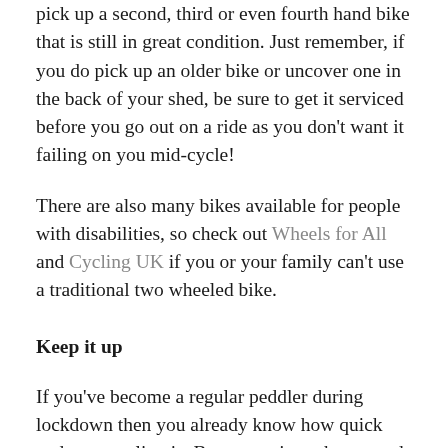pick up a second, third or even fourth hand bike that is still in great condition. Just remember, if you do pick up an older bike or uncover one in the back of your shed, be sure to get it serviced before you go out on a ride as you don't want it failing on you mid-cycle!
There are also many bikes available for people with disabilities, so check out Wheels for All and Cycling UK if you or your family can't use a traditional two wheeled bike.
Keep it up
If you've become a regular peddler during lockdown then you already know how quick and easy cycling is. But as routines change and roads become busier, it's easy to find excuses to go back to the car or public transport.